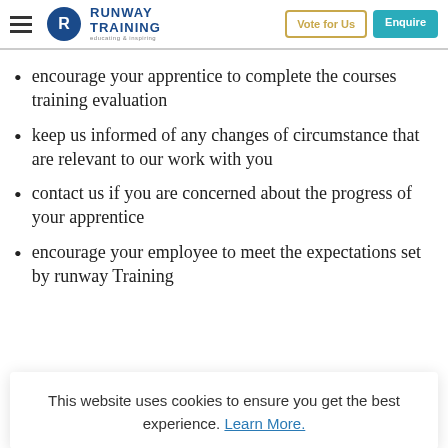Runway Training — Vote for Us | Enquire
encourage your apprentice to complete the courses training evaluation
keep us informed of any changes of circumstance that are relevant to our work with you
contact us if you are concerned about the progress of your apprentice
encourage your employee to meet the expectations set by runway Training
This website uses cookies to ensure you get the best experience. Learn More.
our website https://www.runwaytraining.co.uk or